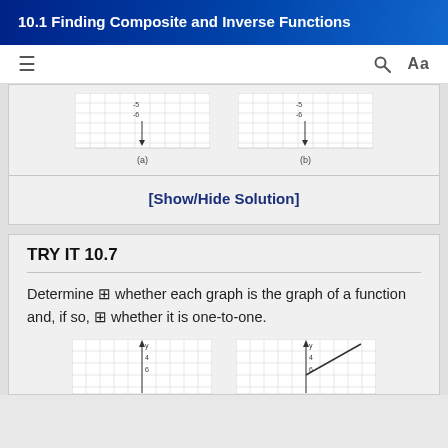10.1 Finding Composite and Inverse Functions
[Figure (other): Two coordinate grid graphs labeled (a) and (b), partially visible, showing axes with values around -5 and -6]
[Show/Hide Solution]
TRY IT 10.7
Determine ⊞ whether each graph is the graph of a function and, if so, ⊞ whether it is one-to-one.
[Figure (other): Two coordinate grid graphs, partially visible at bottom of page, with axes showing values around 4 and 6]